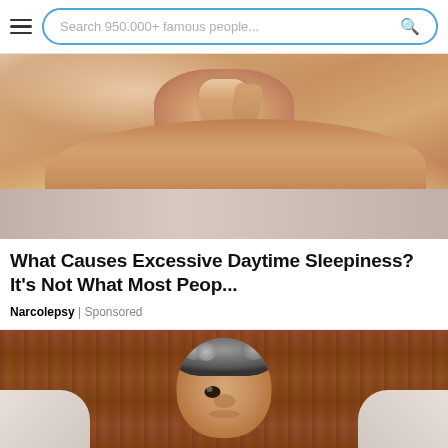Search 950.000+ famous people...
[Figure (photo): Close-up photo of human skin being pinched, showing loose/aging skin texture on an arm]
What Causes Excessive Daytime Sleepiness? It’s Not What Most Peop...
Narcolepsy | Sponsored
[Figure (photo): Elderly person lying down, viewed from above, with gray curly hair, resting on a pillow against a wooden background]